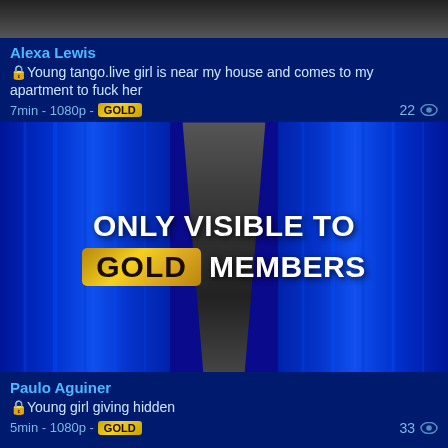[Figure (screenshot): Top partial image cropped at top of page]
Alexa Lewis
🔒Young tango.live girl is near my house and comes to my apartment to fuck her
7min - 1080p - GOLD  22 👁
[Figure (illustration): Blue curtains parting with text ONLY VISIBLE TO GOLD MEMBERS]
Paulo Aguiner
🔒Young girl giving hidden
5min - 1080p - GOLD  33 👁
See more